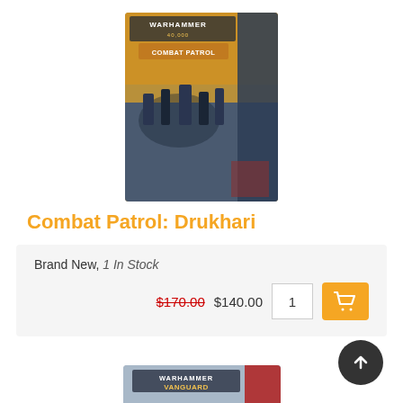[Figure (photo): Warhammer Combat Patrol box set product image showing miniature figures on a battlefield scene]
Combat Patrol: Drukhari
Brand New, 1 In Stock
$170.00  $140.00  1  [Add to Cart]
[Figure (photo): Warhammer Age of Sigmar Vanguard: Daughters of Khaine box set product image]